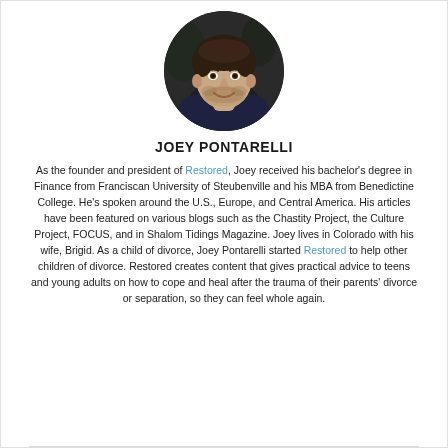[Figure (photo): Circular headshot photo of Joey Pontarelli, a young man smiling, wearing a dark shirt, outdoors with blurred background.]
JOEY PONTARELLI
As the founder and president of Restored, Joey received his bachelor's degree in Finance from Franciscan University of Steubenville and his MBA from Benedictine College. He's spoken around the U.S., Europe, and Central America. His articles have been featured on various blogs such as the Chastity Project, the Culture Project, FOCUS, and in Shalom Tidings Magazine. Joey lives in Colorado with his wife, Brigid. As a child of divorce, Joey Pontarelli started Restored to help other children of divorce. Restored creates content that gives practical advice to teens and young adults on how to cope and heal after the trauma of their parents' divorce or separation, so they can feel whole again.